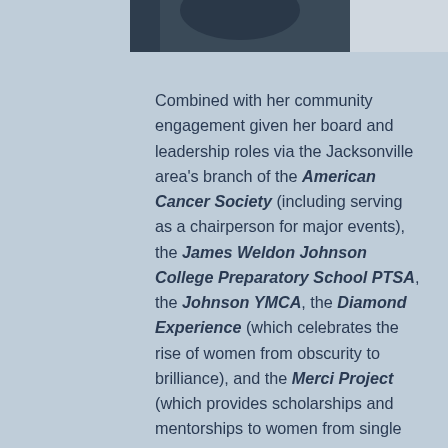[Figure (photo): Top portion of a person in dark clothing, partially visible at the top of the page, with light background on the right side.]
Combined with her community engagement given her board and leadership roles via the Jacksonville area's branch of the American Cancer Society (including serving as a chairperson for major events), the James Weldon Johnson College Preparatory School PTSA, the Johnson YMCA, the Diamond Experience (which celebrates the rise of women from obscurity to brilliance), and the Merci Project (which provides scholarships and mentorships to women from single parent homes during their senior year of high school through their freshmen year of college), it provides an added reach to incorporate a